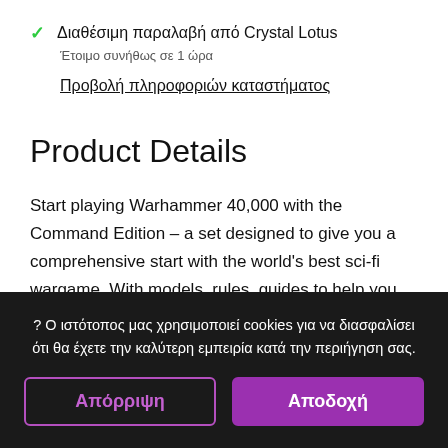✓ Διαθέσιμη παραλαβή από Crystal Lotus
Έτοιμο συνήθως σε 1 ώρα
Προβολή πληροφοριών καταστήματος
Product Details
Start playing Warhammer 40,000 with the Command Edition – a set designed to give you a comprehensive start with the world's best sci-fi wargame. With models, rules, guides to help you begin and much more, this massive set takes the hassle out of kicking off your hobby – build your models, learn to
? Ο ιστότοπος μας χρησιμοποιεί cookies για να διασφαλίσει ότι θα έχετε την καλύτερη εμπειρία κατά την περιήγηση σας.
Απόρριψη
Αποδοχή